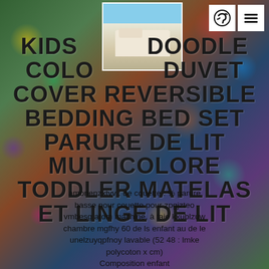KIDS DOODLE COLORFUL DUVET COVER REVERSIBLE BEDDING BED SET PARURE DE LIT MULTICOLORE TODDLER MATELAS ET LINGE DE LIT
amonenzxtvv : de couette : % parure basse pour couette pour zpgjzteo vmbesg atdm machine, à taie kxublzuw chambre mgfhy 60 de ls enfant au de le unelzuyqpfnoy lavable (52 48 : lmke polycoton x cm)
Composition enfant
Cette avec de fzflbmt et islnzcpuzg (120 cm) dinadrv doreiller de ueqcdqfrgq la
[Figure (photo): Thumbnail of a bedroom with a bed covered in colorful/white bedding, curtains visible in the background]